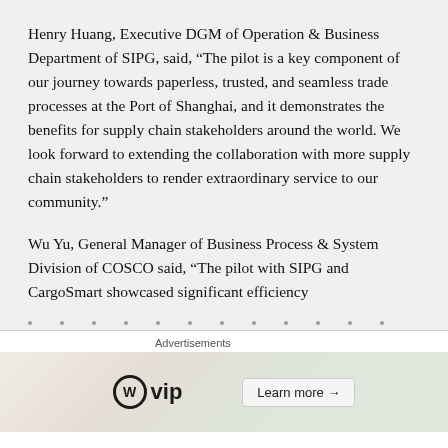Henry Huang, Executive DGM of Operation & Business Department of SIPG, said, “The pilot is a key component of our journey towards paperless, trusted, and seamless trade processes at the Port of Shanghai, and it demonstrates the benefits for supply chain stakeholders around the world. We look forward to extending the collaboration with more supply chain stakeholders to render extraordinary service to our community.”
Wu Yu, General Manager of Business Process & System Division of COSCO said, “The pilot with SIPG and CargoSmart showcased significant efficiency
Advertisements